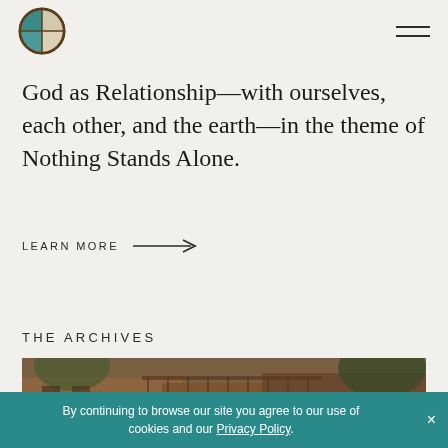[Logo] [Navigation menu icon]
God as Relationship—with ourselves, each other, and the earth—in the theme of Nothing Stands Alone.
LEARN MORE →
THE ARCHIVES
[Figure (photo): Exterior photo of a adobe/southwestern style building with trees and a pergola structure]
By continuing to browse our site you agree to our use of cookies and our Privacy Policy.